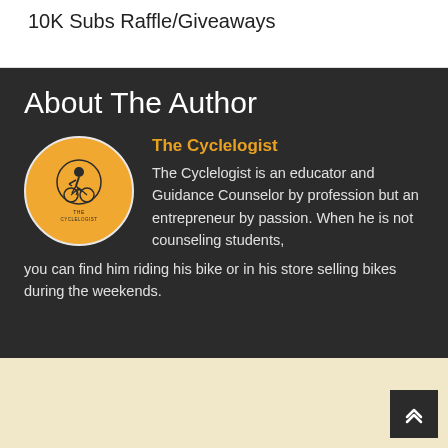10K Subs Raffle/Giveaways
About The Author
[Figure (logo): Circular logo with yellow/orange background showing a cyclist silhouette and text 'THE CYCLELOGIST' underneath]
The Cycleologist
The Cyclelogist is an educator and Guidance Counselor by profession but an entrepreneur by passion. When he is not counseling students, you can find him riding his bike or in his store selling bikes during the weekends.